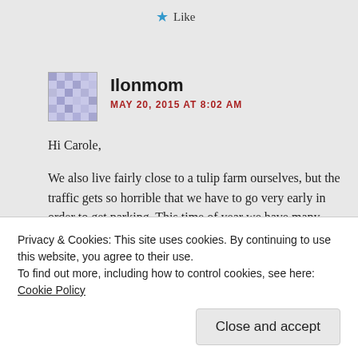★ Like
Ilonmom
MAY 20, 2015 AT 8:02 AM
Hi Carole,

We also live fairly close to a tulip farm ourselves, but the traffic gets so horrible that we have to go very early in order to get parking. This time of year we have many visits to many flower farms
Privacy & Cookies: This site uses cookies. By continuing to use this website, you agree to their use.
To find out more, including how to control cookies, see here: Cookie Policy
Close and accept